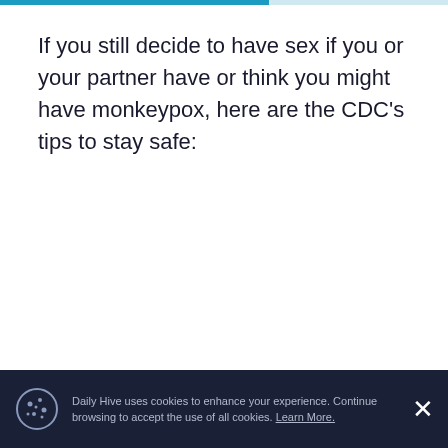If you still decide to have sex if you or your partner have or think you might have monkeypox, here are the CDC's tips to stay safe:
Daily Hive uses cookies to enhance your experience. Continue browsing to accept the use of all cookies. Learn More.